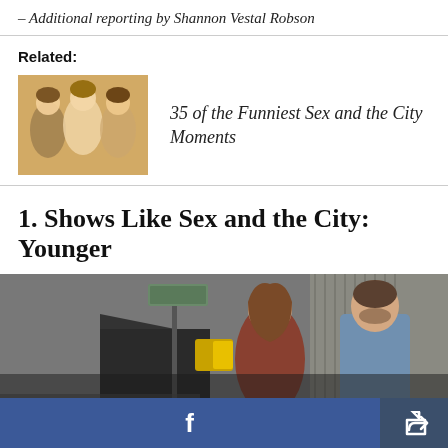– Additional reporting by Shannon Vestal Robson
Related:
[Figure (photo): Thumbnail photo of women laughing, related to Sex and the City]
35 of the Funniest Sex and the City Moments
1. Shows Like Sex and the City: Younger
[Figure (photo): Photo from the TV show Younger, showing a man and woman on a city street]
Facebook share button and general share button